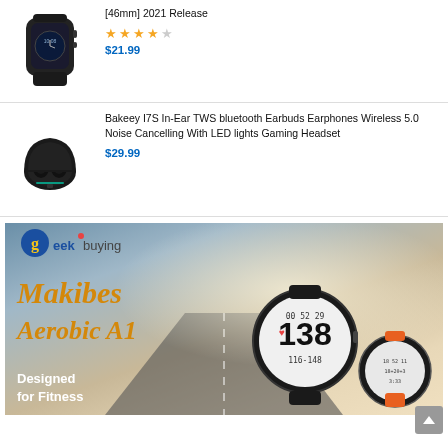[Figure (photo): Black smartwatch product image]
[46mm] 2021 Release
[Figure (other): 4 out of 5 stars rating (gold stars)]
$21.99
[Figure (photo): Black TWS earbuds in charging case product image]
Bakeey I7S In-Ear TWS bluetooth Earbuds Earphones Wireless 5.0 Noise Cancelling With LED lights Gaming Headset
$29.99
[Figure (advertisement): Geekbuying advertisement banner for Makibes Aerobic A1 smartwatch - Designed for Fitness]